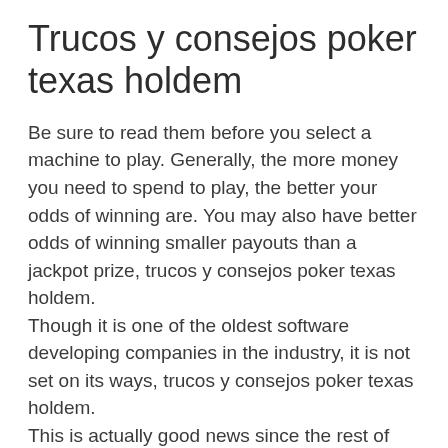Trucos y consejos poker texas holdem
Be sure to read them before you select a machine to play. Generally, the more money you need to spend to play, the better your odds of winning are. You may also have better odds of winning smaller payouts than a jackpot prize, trucos y consejos poker texas holdem.
Though it is one of the oldest software developing companies in the industry, it is not set on its ways, trucos y consejos poker texas holdem.
This is actually good news since the rest of the United States already has some form of slots being used in casino, racetracks, Indian casinos, or even the latest craze, racinos. Even now, states are starting to open up to the idea that regulated and licensed gambling will bring in jobs, as well as